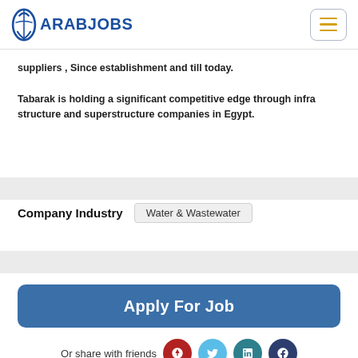ArabJobs
suppliers , Since establishment and till today.

Tabarak is holding a significant competitive edge through infra structure and superstructure companies in Egypt.
Company Industry   Water & Wastewater
Apply For Job
Or share with friends